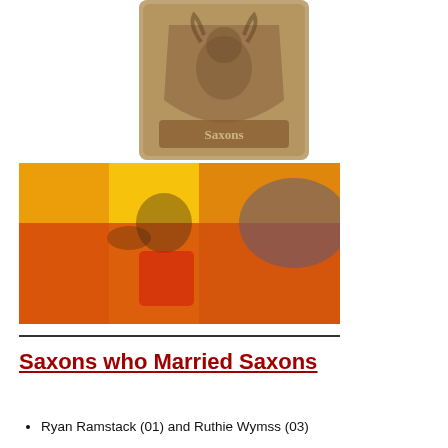[Figure (logo): A blurred team logo/crest on a tan/brown background with a mascot figure, reading 'Saxons' at the bottom.]
[Figure (photo): A blurred color photo of a person in a red shirt against a bright yellow and red background, possibly a sports or action scene.]
Saxons who Married Saxons
Ryan Ramstack (01) and Ruthie Wymss (03)